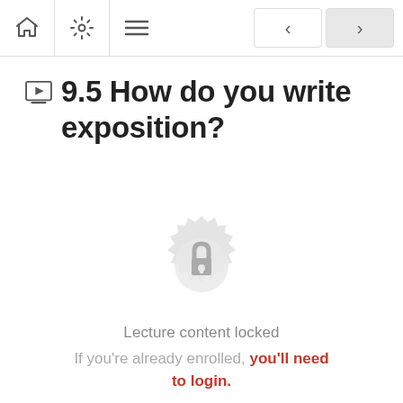Navigation bar with home, settings, menu icons and back/forward buttons
9.5 How do you write exposition?
[Figure (other): Lock icon on decorative badge/seal background indicating locked content]
Lecture content locked
If you're already enrolled, you'll need to login.